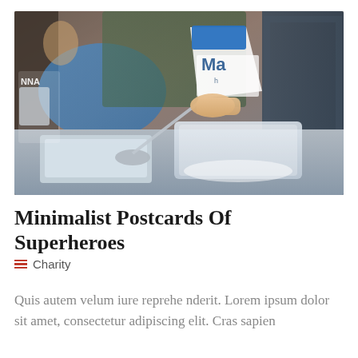[Figure (photo): Close-up photo of a person's hand pouring powder from a bag labeled 'Ma...' into a clear plastic container on a metal surface. Other people and blue bags visible in the background.]
Minimalist Postcards Of Superheroes
Charity
Quis autem velum iure reprehe nderit. Lorem ipsum dolor sit amet, consectetur adipiscing elit. Cras sapien